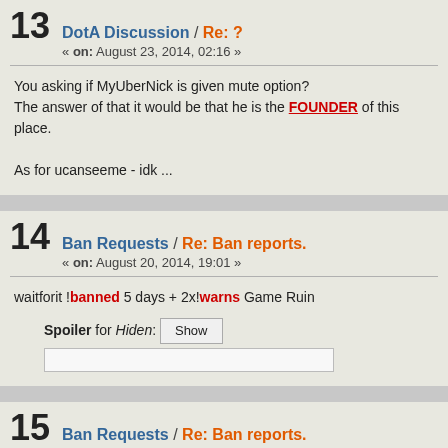13  DotA Discussion / Re: ?  « on: August 23, 2014, 02:16 »
You asking if MyUberNick is given mute option?
The answer of that it would be that he is the FOUNDER of this place.

As for ucanseeme - idk ...
14  Ban Requests / Re: Ban reports.  « on: August 20, 2014, 19:01 »
waitforit !banned 5 days + 2x!warns Game Ruin
Spoiler for Hiden: [Show]
15  Ban Requests / Re: Ban reports.  « on: August 17, 2014, 02:31 »
Dota-Master !banned 3 days + 2x!warn Family Related Flame